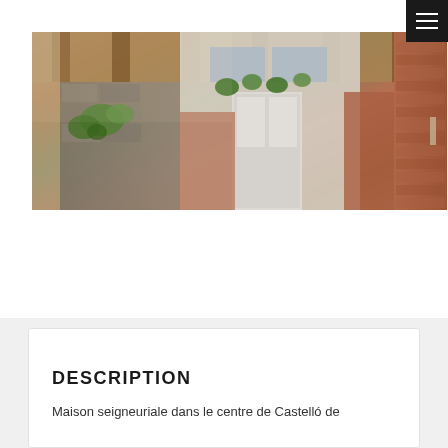[Figure (photo): Interior courtyard or terrace of a traditional building with rustic wooden beamed ceiling, stone walls, potted green plants, terracotta/brick tones, and a white wall with windows in the background]
DESCRIPTION
Maison seigneuriale dans le centre de Castelló de